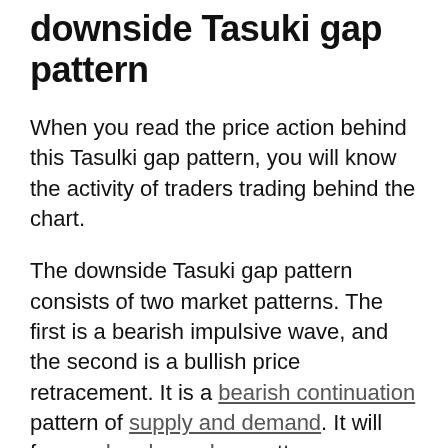downside Tasuki gap pattern
When you read the price action behind this Tasulki gap pattern, you will know the activity of traders trading behind the chart.
The downside Tasuki gap pattern consists of two market patterns. The first is a bearish impulsive wave, and the second is a bullish price retracement. It is a bearish continuation pattern of supply and demand. It will form a drop base drop pattern
The two bearish candlesticks with a gap represent that the sellers are in complete